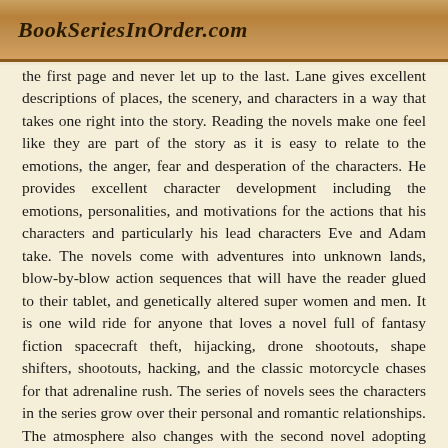BookSeriesInOrder.com
the first page and never let up to the last. Lane gives excellent descriptions of places, the scenery, and characters in a way that takes one right into the story. Reading the novels make one feel like they are part of the story as it is easy to relate to the emotions, the anger, fear and desperation of the characters. He provides excellent character development including the emotions, personalities, and motivations for the actions that his characters and particularly his lead characters Eve and Adam take. The novels come with adventures into unknown lands, blow-by-blow action sequences that will have the reader glued to their tablet, and genetically altered super women and men. It is one wild ride for anyone that loves a novel full of fantasy fiction spacecraft theft, hijacking, drone shootouts, shape shifters, shootouts, hacking, and the classic motorcycle chases for that adrenaline rush. The series of novels sees the characters in the series grow over their personal and romantic relationships. The atmosphere also changes with the second novel adopting what is